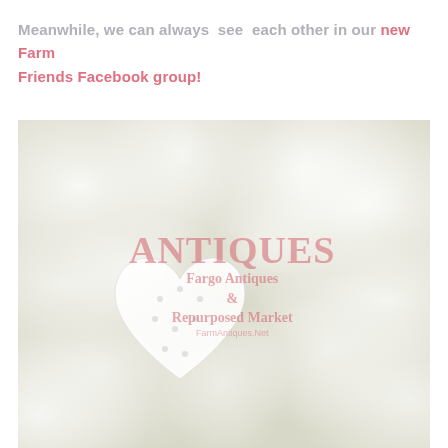Meanwhile, we can always  see  each other in our new Farm Friends Facebook group!
[Figure (photo): Photo of white flowers (baby's breath) with a white ceramic/wooden heart shape in the foreground. A watermark overlay reads 'ANTIQUES' in large red-pink serif text, with 'Fargo Antiques & Repurposed Market' and 'FarmAntiques.Net' below.]